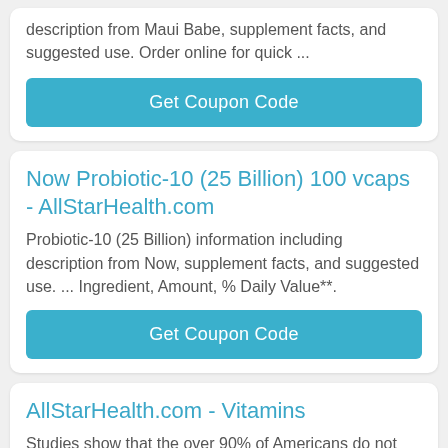description from Maui Babe, supplement facts, and suggested use. Order online for quick ...
Get Coupon Code
Now Probiotic-10 (25 Billion) 100 vcaps - AllStarHealth.com
Probiotic-10 (25 Billion) information including description from Now, supplement facts, and suggested use. ... Ingredient, Amount, % Daily Value**.
Get Coupon Code
AllStarHealth.com - Vitamins
Studies show that the over 90% of Americans do not receive adequate daily amounts of vitamins, minerals